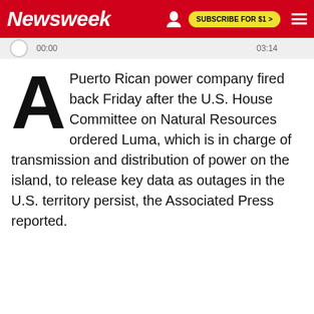Newsweek  SUBSCRIBE FOR $1 >
00:00  03:14
A Puerto Rican power company fired back Friday after the U.S. House Committee on Natural Resources ordered Luma, which is in charge of transmission and distribution of power on the island, to release key data as outages in the U.S. territory persist, the Associated Press reported.